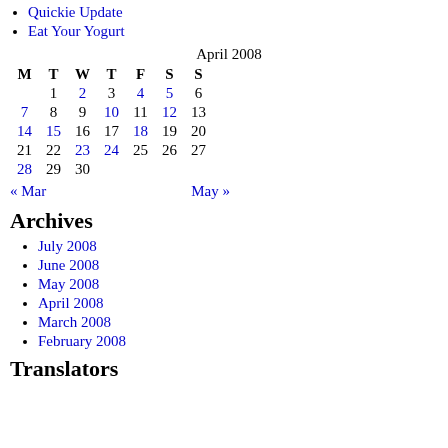Quickie Update
Eat Your Yogurt
| M | T | W | T | F | S | S |
| --- | --- | --- | --- | --- | --- | --- |
|  | 1 | 2 | 3 | 4 | 5 | 6 |
| 7 | 8 | 9 | 10 | 11 | 12 | 13 |
| 14 | 15 | 16 | 17 | 18 | 19 | 20 |
| 21 | 22 | 23 | 24 | 25 | 26 | 27 |
| 28 | 29 | 30 |  |  |  |  |
« Mar   May »
Archives
July 2008
June 2008
May 2008
April 2008
March 2008
February 2008
Translators